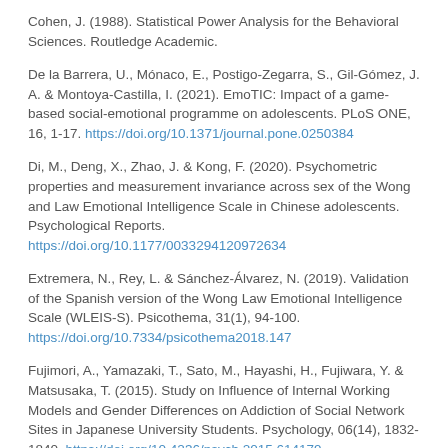Cohen, J. (1988). Statistical Power Analysis for the Behavioral Sciences. Routledge Academic.
De la Barrera, U., Mónaco, E., Postigo-Zegarra, S., Gil-Gómez, J. A. & Montoya-Castilla, I. (2021). EmoTIC: Impact of a game-based social-emotional programme on adolescents. PLoS ONE, 16, 1-17. https://doi.org/10.1371/journal.pone.0250384
Di, M., Deng, X., Zhao, J. & Kong, F. (2020). Psychometric properties and measurement invariance across sex of the Wong and Law Emotional Intelligence Scale in Chinese adolescents. Psychological Reports. https://doi.org/10.1177/0033294120972634
Extremera, N., Rey, L. & Sánchez-Álvarez, N. (2019). Validation of the Spanish version of the Wong Law Emotional Intelligence Scale (WLEIS-S). Psicothema, 31(1), 94-100. https://doi.org/10.7334/psicothema2018.147
Fujimori, A., Yamazaki, T., Sato, M., Hayashi, H., Fujiwara, Y. & Matsusaka, T. (2015). Study on Influence of Internal Working Models and Gender Differences on Addiction of Social Network Sites in Japanese University Students. Psychology, 06(14), 1832-1840. https://doi.org/10.4236/psych.2015.614179
Garaigordobil, M. & Peña-Sarrionandia, A. (2015). Effects of an